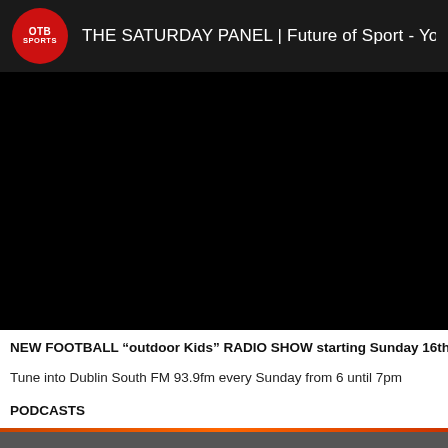[Figure (screenshot): YouTube video embed showing OTB Sports Saturday Panel - Future of Sport video with black background. A red circle logo with 'OTB SPORTS' text is in the top-left corner, followed by white text 'THE SATURDAY PANEL | Future of Sport - Yout' (truncated). The video area is mostly black.]
NEW FOOTBALL “outdoor Kids” RADIO SHOW starting Sunday 16th Augus
Tune into Dublin South FM 93.9fm every Sunday from 6 until 7pm
PODCASTS
[Figure (photo): Partial image strip at bottom showing dark/grey content, partially cut off]